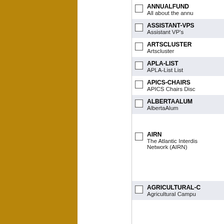ANNUALFUND
All about the annu...
ASSISTANT-VPS
Assistant VP's
ARTSCLUSTER
Artscluster
APLA-LIST
APLA-List List
APICS-CHAIRS
APICS Chairs Disc...
ALBERTAALUM
AlbertaAlum
AIRN
The Atlantic Interdis...
Network (AIRN)
AGRICULTURAL-C...
Agricultural Campu...